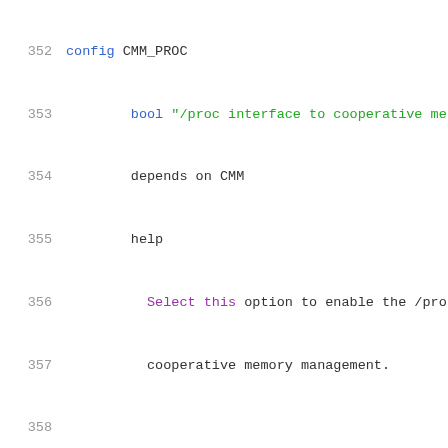[Figure (screenshot): Source code viewer showing lines 352-373 of a Linux kernel Kconfig file with syntax highlighting. Line numbers in gray on the left, code with color-coded keywords (green for string literals, purple for 'Select this'/'This'/'Default', blue for 'bool').]